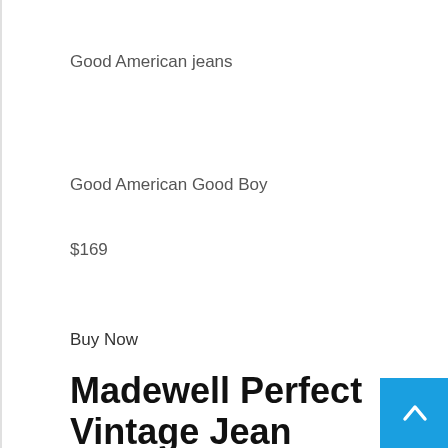Good American jeans
Good American Good Boy
$169
Buy Now
Madewell Perfect Vintage Jean
Best Petite Straight-Leg Jeans